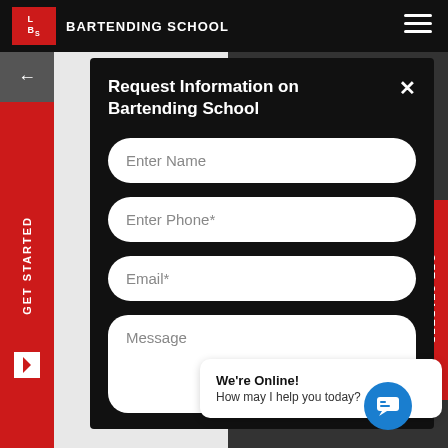LBS BARTENDING SCHOOL
Request Information on Bartending School
Enter Name
Enter Phone*
Email*
Message
We're Online!
How may I help you today?